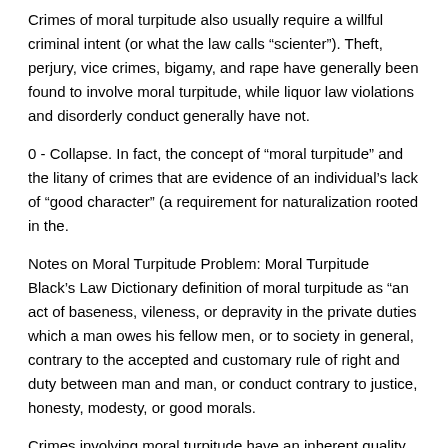Crimes of moral turpitude also usually require a willful criminal intent (or what the law calls "scienter"). Theft, perjury, vice crimes, bigamy, and rape have generally been found to involve moral turpitude, while liquor law violations and disorderly conduct generally have not.
0 - Collapse. In fact, the concept of “moral turpitude” and the litany of crimes that are evidence of an individual’s lack of “good character” (a requirement for naturalization rooted in the.
Notes on Moral Turpitude Problem: Moral Turpitude Black’s Law Dictionary definition of moral turpitude as “an act of baseness, vileness, or depravity in the private duties which a man owes his fellow men, or to society in general, contrary to the accepted and customary rule of right and duty between man and man, or conduct contrary to justice, honesty, modesty, or good morals.
Crimes involving moral turpitude have an inherent quality of baseness, vileness, or depravity with respect to a person’s duty to another or to society in general. Examples include rape, forgery. Comparison of an aggravated felony to a crime involving moral turpitude.